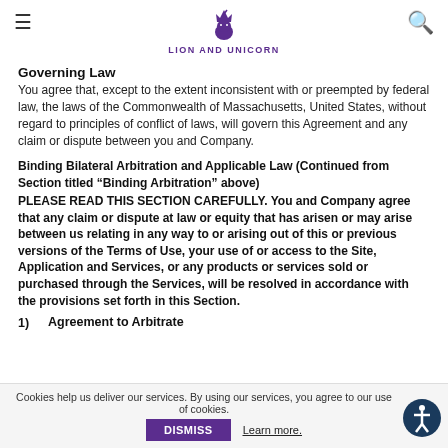LION AND UNICORN
Governing Law
You agree that, except to the extent inconsistent with or preempted by federal law, the laws of the Commonwealth of Massachusetts, United States, without regard to principles of conflict of laws, will govern this Agreement and any claim or dispute between you and Company.
Binding Bilateral Arbitration and Applicable Law (Continued from Section titled “Binding Arbitration” above)
PLEASE READ THIS SECTION CAREFULLY. You and Company agree that any claim or dispute at law or equity that has arisen or may arise between us relating in any way to or arising out of this or previous versions of the Terms of Use, your use of or access to the Site, Application and Services, or any products or services sold or purchased through the Services, will be resolved in accordance with the provisions set forth in this Section.
1)	Agreement to Arbitrate
Cookies help us deliver our services. By using our services, you agree to our use of cookies. DISMISS Learn more.